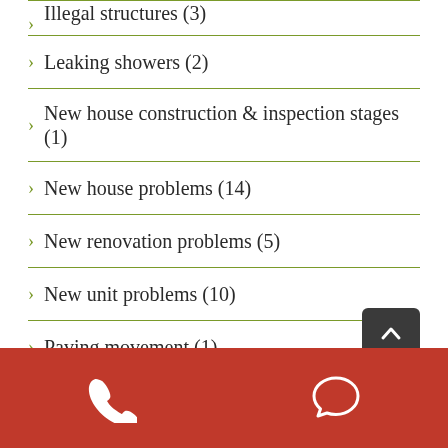Illegal structures (3)
Leaking showers (2)
New house construction & inspection stages (1)
New house problems (14)
New renovation problems (5)
New unit problems (10)
Paving movement (1)
Plumbing problems (3)
Pool (1)